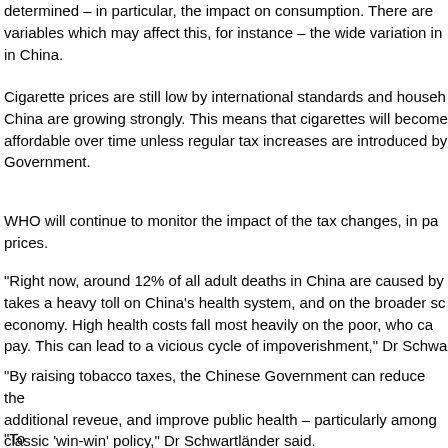determined – in particular, the impact on consumption. There are variables which may affect this, for instance – the wide variation in in China.
Cigarette prices are still low by international standards and househ China are growing strongly. This means that cigarettes will become affordable over time unless regular tax increases are introduced by Government.
WHO will continue to monitor the impact of the tax changes, in pa prices.
“Right now, around 12% of all adult deaths in China are caused by takes a heavy toll on China’s health system, and on the broader sc economy. High health costs fall most heavily on the poor, who can pay. This can lead to a vicious cycle of impoverishment,” Dr Schwa
“By raising tobacco taxes, the Chinese Government can reduce the additional reveue, and improve public health – particularly among classic ‘win-win’ policy,” Dr Schwartländer said.
“To...